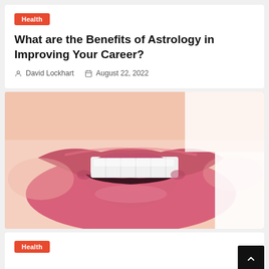Health
What are the Benefits of Astrology in Improving Your Career?
David Lockhart   August 22, 2022
[Figure (photo): Close-up photo of a woman smiling showing white teeth and pink lips against a white background]
Health